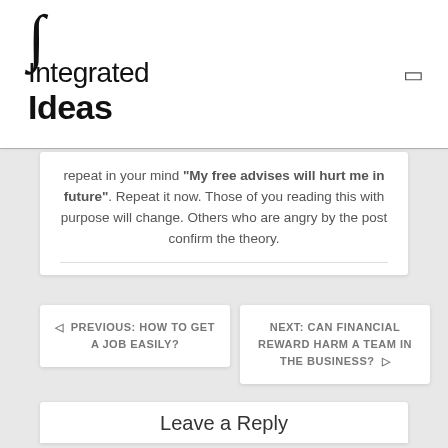∫ Integrated Ideas
repeat in your mind "My free advises will hurt me in future". Repeat it now. Those of you reading this with purpose will change. Others who are angry by the post confirm the theory.
◁  PREVIOUS: HOW TO GET A JOB EASILY?
NEXT: CAN FINANCIAL REWARD HARM A TEAM IN THE BUSINESS?  ▷
Leave a Reply